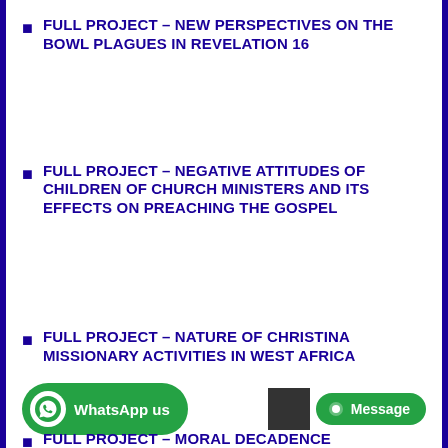FULL PROJECT – NEW PERSPECTIVES ON THE BOWL PLAGUES IN REVELATION 16
FULL PROJECT – NEGATIVE ATTITUDES OF CHILDREN OF CHURCH MINISTERS AND ITS EFFECTS ON PREACHING THE GOSPEL
FULL PROJECT – NATURE OF CHRISTINA MISSIONARY ACTIVITIES IN WEST AFRICA
FULL PROJECT – MORAL DECADENCE